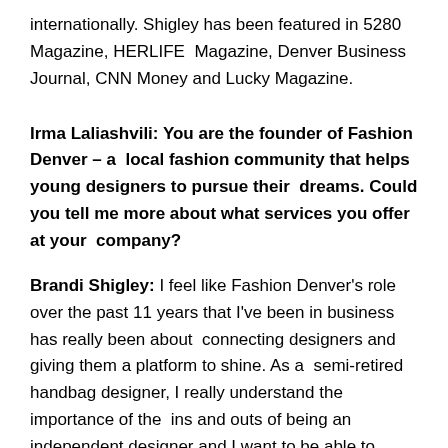internationally. Shigley has been featured in 5280 Magazine, HERLIFE Magazine, Denver Business Journal, CNN Money and Lucky Magazine.
Irma Laliashvili: You are the founder of Fashion Denver – a local fashion community that helps young designers to pursue their dreams. Could you tell me more about what services you offer at your company?
Brandi Shigley: I feel like Fashion Denver's role over the past 11 years that I've been in business has really been about connecting designers and giving them a platform to shine. As a semi-retired handbag designer, I really understand the importance of the ins and outs of being an independent designer and I want to be able to provide those services to local designers. Those services include